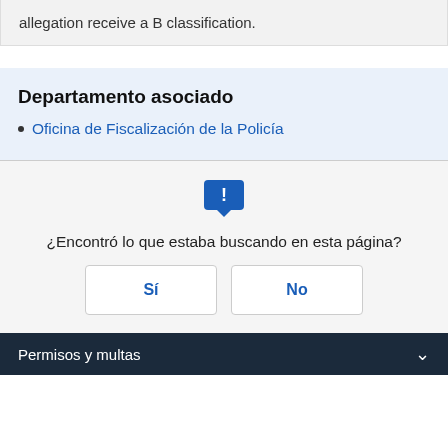allegation receive a B classification.
Departamento asociado
Oficina de Fiscalización de la Policía
¿Encontró lo que estaba buscando en esta página?
Sí
No
Permisos y multas